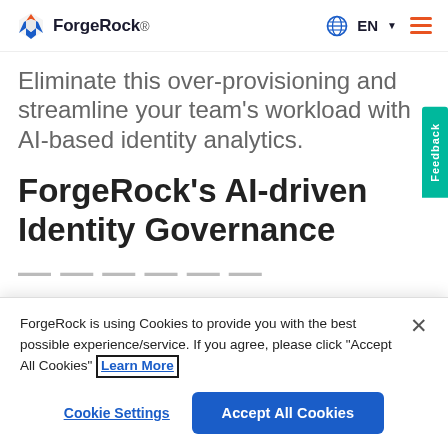[Figure (logo): ForgeRock logo with orange flame/diamond icon and ForgeRock wordmark in dark navy]
EN (language selector with globe icon and hamburger menu)
Eliminate this over-provisioning and streamline your team's workload with AI-based identity analytics.
ForgeRock's AI-driven Identity Governance
ForgeRock is using Cookies to provide you with the best possible experience/service. If you agree, please click "Accept All Cookies" Learn More
Cookie Settings
Accept All Cookies